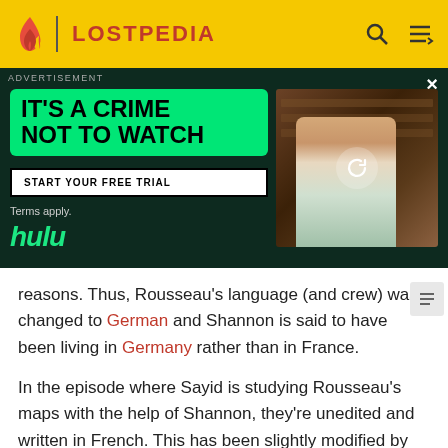LOSTPEDIA
[Figure (screenshot): Hulu advertisement banner with dark green background. Large green rounded rectangle contains bold text 'IT'S A CRIME NOT TO WATCH'. White button reads 'START YOUR FREE TRIAL'. 'hulu' logo in green italic. Right side shows photo of a person in a library. Close button X in top right. 'ADVERTISEMENT' label at top left.]
reasons. Thus, Rousseau's language (and crew) was changed to German and Shannon is said to have been living in Germany rather than in France.
In the episode where Sayid is studying Rousseau's maps with the help of Shannon, they're unedited and written in French. This has been slightly modified by Shannon saying that the maps are partly in French and partly in German (which isn't shown on screen).